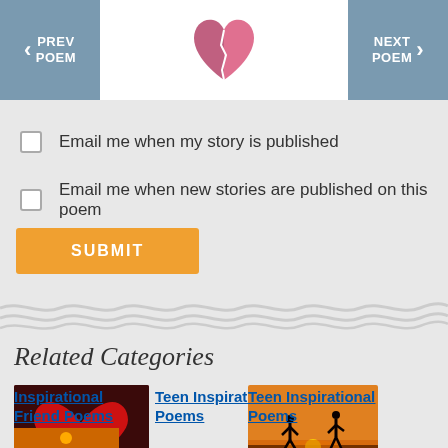PREV POEM | [logo] | NEXT POEM
Email me when my story is published
Email me when new stories are published on this poem
SUBMIT
Related Categories
[Figure (photo): Red heart on green stems]
Inspirational Friend Poems
[Figure (photo): Silhouettes of two people jumping at sunset]
Teen Inspirational Poems